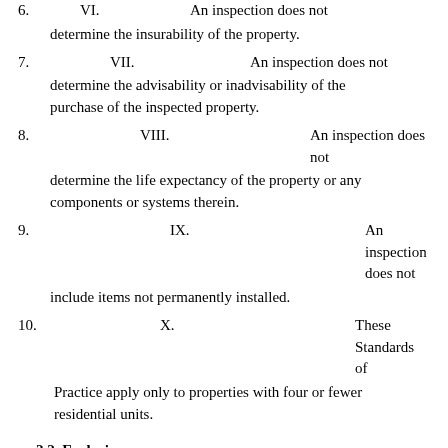6. VI. An inspection does not determine the insurability of the property.
7. VII. An inspection does not determine the advisability or inadvisability of the purchase of the inspected property.
8. VIII. An inspection does not determine the life expectancy of the property or any components or systems therein.
9. IX. An inspection does not include items not permanently installed.
10. X. These Standards of Practice apply only to properties with four or fewer residential units.
2.2. Exclusions:
I. The inspector is not required to determine:
1. property boundary lines or encroachments.